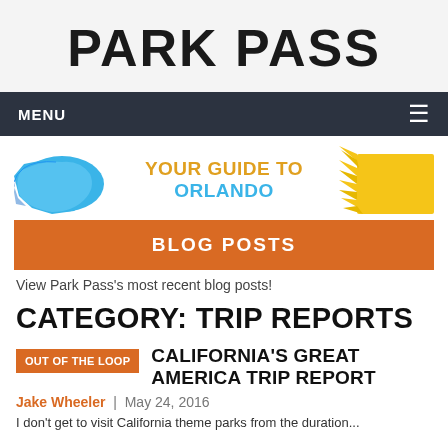PARK PASS
MENU
[Figure (illustration): Orlando guide banner with blue splat shape on left, yellow sun shape on right, and text 'YOUR GUIDE TO ORLANDO' in the center]
BLOG POSTS
View Park Pass's most recent blog posts!
CATEGORY: TRIP REPORTS
OUT OF THE LOOP
CALIFORNIA'S GREAT AMERICA TRIP REPORT
Jake Wheeler | May 24, 2016
I don't get to visit California theme parks from the duration...